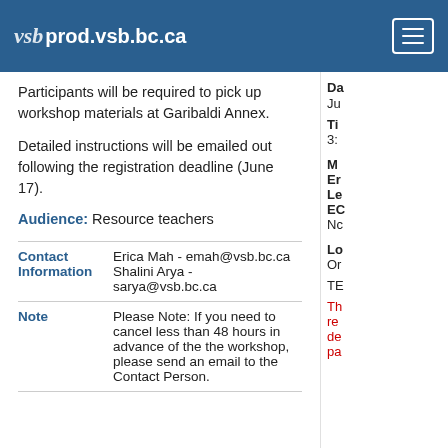prod.vsb.bc.ca
Participants will be required to pick up workshop materials at Garibaldi Annex.
Detailed instructions will be emailed out following the registration deadline (June 17).
Audience: Resource teachers
| Field | Value |
| --- | --- |
| Contact Information | Erica Mah - emah@vsb.bc.ca
Shalini Arya - sarya@vsb.bc.ca |
| Note | Please Note: If you need to cancel less than 48 hours in advance of the the workshop, please send an email to the Contact Person. |